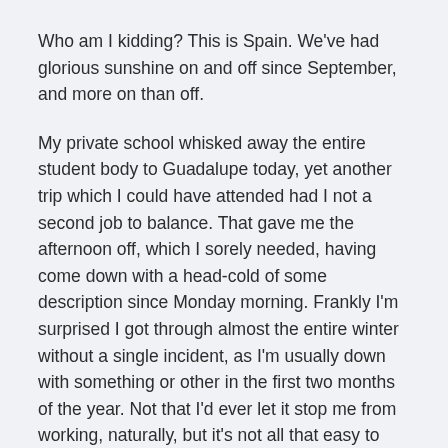Who am I kidding? This is Spain. We've had glorious sunshine on and off since September, and more on than off.
My private school whisked away the entire student body to Guadalupe today, yet another trip which I could have attended had I not a second job to balance. That gave me the afternoon off, which I sorely needed, having come down with a head-cold of some description since Monday morning. Frankly I'm surprised I got through almost the entire winter without a single incident, as I'm usually down with something or other in the first two months of the year. Not that I'd ever let it stop me from working, naturally, but it's not all that easy to lead a conversation class when talking is just about the very last thing you want to be doing. Nevertheless, the